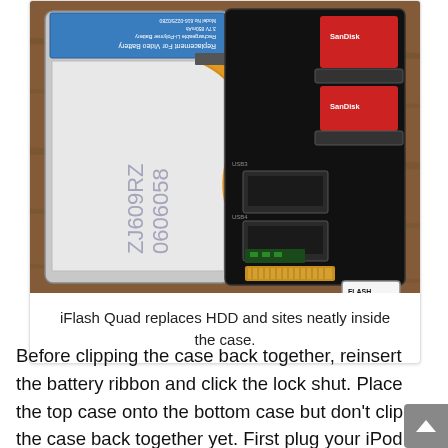[Figure (photo): Photo of an iPod opened up showing the iFlash Quad circuit board installed alongside a replacement Li-Polymer battery. The circuit board (labeled FLASH QUAD) is on the right side with SD card slots visible. A flat flexible orange/gold ribbon cable and a white battery with blue label are on the left. The device is open on a wooden surface.]
iFlash Quad replaces HDD and sites neatly inside the case.
Before clipping the case back together, reinsert the battery ribbon and click the lock shut. Place the top case onto the bottom case but don't clip the case back together yet. First plug your iPod